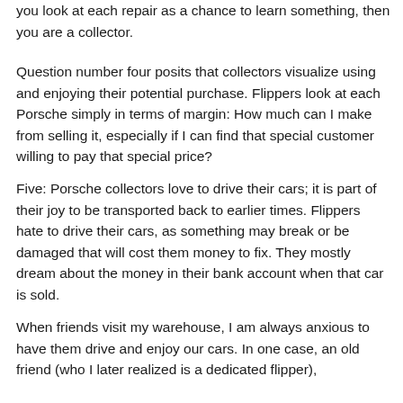you look at each repair as a chance to learn something, then you are a collector.
Question number four posits that collectors visualize using and enjoying their potential purchase. Flippers look at each Porsche simply in terms of margin: How much can I make from selling it, especially if I can find that special customer willing to pay that special price?
Five: Porsche collectors love to drive their cars; it is part of their joy to be transported back to earlier times. Flippers hate to drive their cars, as something may break or be damaged that will cost them money to fix. They mostly dream about the money in their bank account when that car is sold.
When friends visit my warehouse, I am always anxious to have them drive and enjoy our cars. In one case, an old friend (who I later realized is a dedicated flipper),